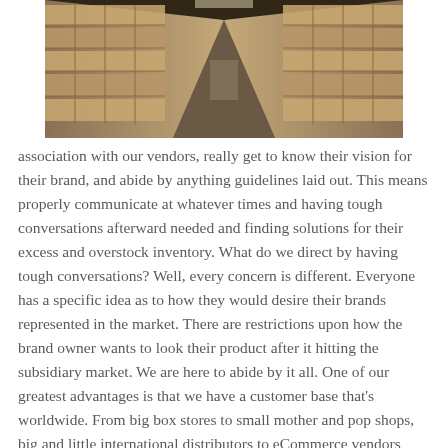[Figure (photo): Interior of a warehouse with tall shelving units stacked with cardboard boxes on both sides of a long aisle, with pallets visible in the background.]
association with our vendors, really get to know their vision for their brand, and abide by anything guidelines laid out. This means properly communicate at whatever times and having tough conversations afterward needed and finding solutions for their excess and overstock inventory. What do we direct by having tough conversations? Well, every concern is different. Everyone has a specific idea as to how they would desire their brands represented in the market. There are restrictions upon how the brand owner wants to look their product after it hitting the subsidiary market. We are here to abide by it all. One of our greatest advantages is that we have a customer base that's worldwide. From big box stores to small mother and pop shops, big and little international distributors to eCommerce vendors anything look to us